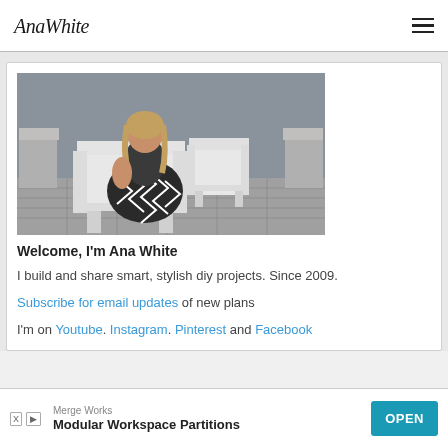AnaWhite (logo) with hamburger menu
[Figure (photo): Woman sitting in a white modern outdoor chair on a patio, with another empty white chair beside her and stone planters on either side. She is wearing a black and white chevron patterned outfit.]
Welcome, I'm Ana White
I build and share smart, stylish diy projects. Since 2009.
Subscribe for email updates of new plans
I'm on Youtube. Instagram. Pinterest and Facebook
Merge Works
Modular Workspace Partitions  OPEN